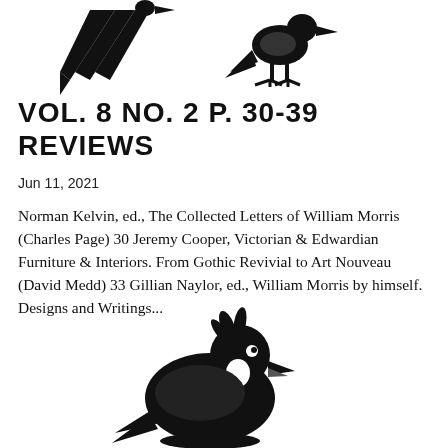[Figure (illustration): Black silhouette illustration of two birds (crow/raven style) at the top of the page]
VOL. 8 NO. 2 P. 30-39
REVIEWS
Jun 11, 2021
Norman Kelvin, ed., The Collected Letters of William Morris (Charles Page) 30 Jeremy Cooper, Victorian & Edwardian Furniture & Interiors. From Gothic Revivial to Art Nouveau (David Medd) 33 Gillian Naylor, ed., William Morris by himself. Designs and Writings...
[Figure (illustration): Black silhouette illustration of a bird (duck/pigeon style) at the bottom of the page]